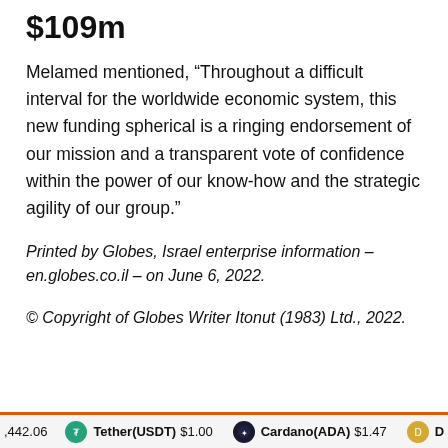$109m
Melamed mentioned, “Throughout a difficult interval for the worldwide economic system, this new funding spherical is a ringing endorsement of our mission and a transparent vote of confidence within the power of our know-how and the strategic agility of our group.”
Printed by Globes, Israel enterprise information – en.globes.co.il – on June 6, 2022.
© Copyright of Globes Writer Itonut (1983) Ltd., 2022.
442.06   Tether(USDT) $1.00   Cardano(ADA) $1.47   D